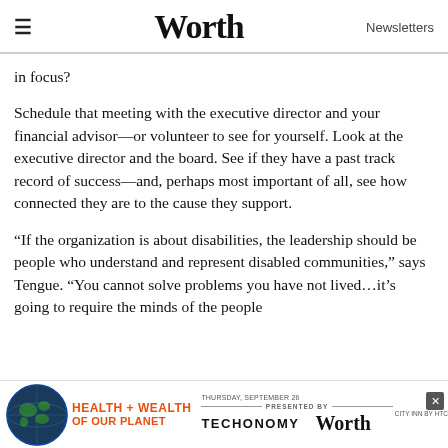≡  Worth  Newsletters
in focus?
Schedule that meeting with the executive director and your financial advisor—or volunteer to see for yourself. Look at the executive director and the board. See if they have a past track record of success—and, perhaps most important of all, see how connected they are to the cause they support.
“If the organization is about disabilities, the leadership should be people who understand and represent disabled communities,” says Tengue. “You cannot solve problems you have not lived…it's going to require the minds of the people
[Figure (advertisement): Health + Wealth of Our Planet advertisement banner with globe logo, Techonomy and Worth logos, presented by text, city information, and close button]